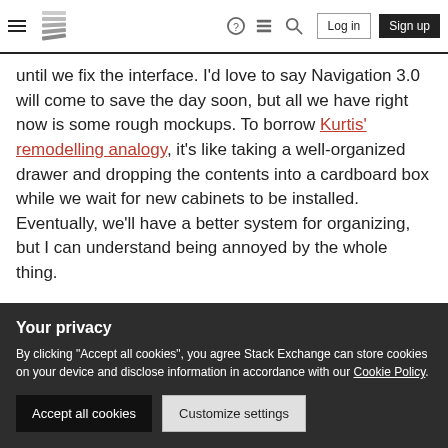Stack Exchange navigation bar with hamburger menu, logo, help, chat, search icons, Log in and Sign up buttons
until we fix the interface. I'd love to say Navigation 3.0 will come to save the day soon, but all we have right now is some rough mockups. To borrow Kurtis' remodelling analogy, it's like taking a well-organized drawer and dropping the contents into a cardboard box while we wait for new cabinets to be installed. Eventually, we'll have a better system for organizing, but I can understand being annoyed by the whole thing.

If it's any solace, the feedback has been incredibly helpful in pinning down what parts of New Nav we...
Your privacy
By clicking “Accept all cookies”, you agree Stack Exchange can store cookies on your device and disclose information in accordance with our Cookie Policy.
Accept all cookies  Customize settings